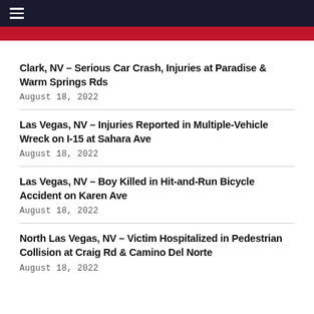≡ [navigation menu]
Clark, NV – Serious Car Crash, Injuries at Paradise & Warm Springs Rds
August 18, 2022
Las Vegas, NV – Injuries Reported in Multiple-Vehicle Wreck on I-15 at Sahara Ave
August 18, 2022
Las Vegas, NV – Boy Killed in Hit-and-Run Bicycle Accident on Karen Ave
August 18, 2022
North Las Vegas, NV – Victim Hospitalized in Pedestrian Collision at Craig Rd & Camino Del Norte
August 18, 2022